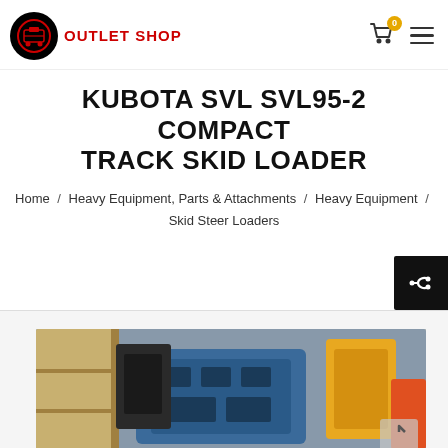OUTLET SHOP
KUBOTA SVL SVL95-2 COMPACT TRACK SKID LOADER
Home / Heavy Equipment, Parts & Attachments / Heavy Equipment / Skid Steer Loaders
[Figure (photo): Photo of Kubota SVL95-2 compact track skid loader engine components and parts in a warehouse/shop setting, with yellow and orange equipment parts visible.]